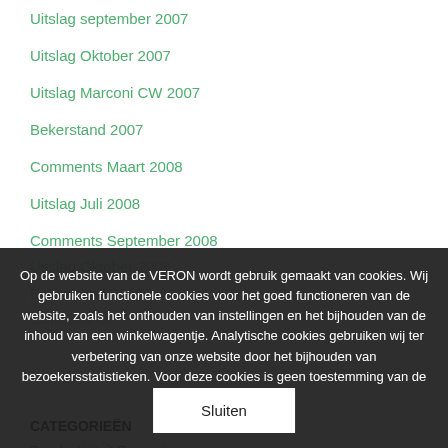Uitslag september 2007
Uitslag Oktober 2007
Uitslag Marconi CW 2007
Bekerstand 2007
Comments Maart 2008
Uitslag Juli 2008
Comments September 2008
Comments Oktober 2008
Uitslag Oktober 2008
Bekerstand 2008
Op de website van de VERON wordt gebruik gemaakt van cookies. Wij gebruiken functionele cookies voor het goed functioneren van de website, zoals het onthouden van instellingen en het bijhouden van de inhoud van een winkelwagentje. Analytische cookies gebruiken wij ter verbetering van onze website door het bijhouden van bezoekersstatistieken. Voor deze cookies is geen toestemming van de gebruiker nodig.
Sluiten
CATEGORIEËN
Bandactiviteit Rapporten